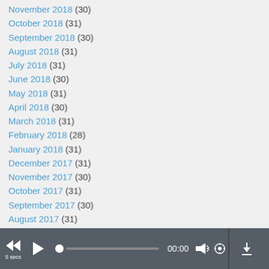November 2018 (30)
October 2018 (31)
September 2018 (30)
August 2018 (31)
July 2018 (31)
June 2018 (30)
May 2018 (31)
April 2018 (30)
March 2018 (31)
February 2018 (28)
January 2018 (31)
December 2017 (31)
November 2017 (30)
October 2017 (31)
September 2017 (30)
August 2017 (31)
July 2017 (31)
June 2017 (30)
May 2017 (31)
April 2017 (30)